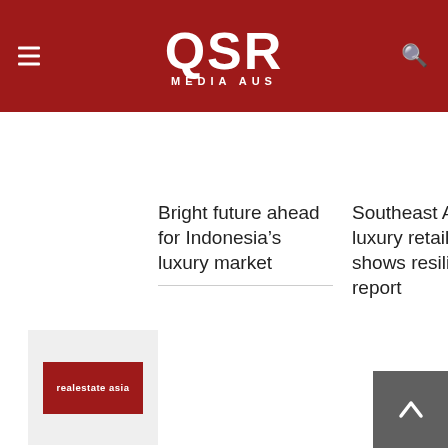QSR MEDIA AUS
Bright future ahead for Indonesia’s luxury market
Southeast Asia’s luxury retail industry shows resilience: report
[Figure (logo): realestate asia logo on red background]
[Figure (other): Back to top arrow button, grey square]